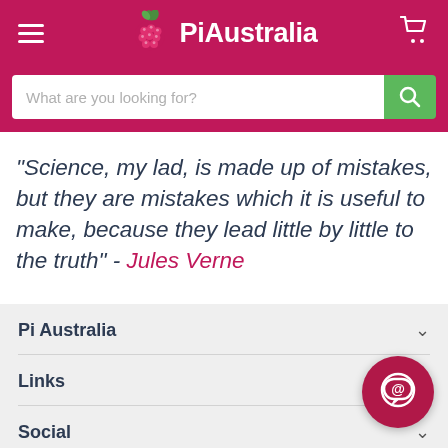PiAustralia
What are you looking for?
"Science, my lad, is made up of mistakes, but they are mistakes which it is useful to make, because they lead little by little to the truth" - Jules Verne
Pi Australia
Links
Social